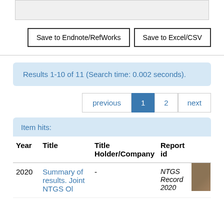[Figure (screenshot): Top grey bar section (partial UI element)]
Save to Endnote/RefWorks   Save to Excel/CSV
Results 1-10 of 11 (Search time: 0.002 seconds).
previous  1  2  next
Item hits:
| Year | Title | Title Holder/Company | Report id |
| --- | --- | --- | --- |
| 2020 | Summary of results. Joint NTGS Ol... | - | NTGS Record 2020... |